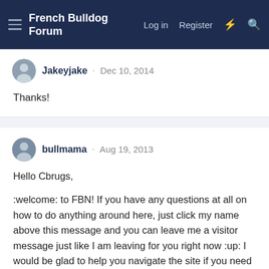French Bulldog Forum  Log in  Register
Jakeyjake · Dec 10, 2014

Thanks!
bullmama · Aug 19, 2013

Hello Cbrugs,

:welcome: to FBN! If you have any questions at all on how to do anything around here, just click my name above this message and you can leave me a visitor message just like I am leaving for you right now :up: I would be glad to help you navigate the site if you need